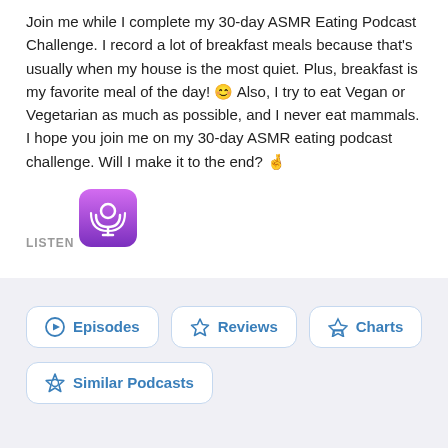Join me while I complete my 30-day ASMR Eating Podcast Challenge. I record a lot of breakfast meals because that's usually when my house is the most quiet. Plus, breakfast is my favorite meal of the day! 😊 Also, I try to eat Vegan or Vegetarian as much as possible, and I never eat mammals. I hope you join me on my 30-day ASMR eating podcast challenge. Will I make it to the end? 🤞
LISTEN
[Figure (logo): Apple Podcasts icon — purple rounded square with white podcast symbol]
[Figure (other): Navigation buttons row: Episodes, Reviews, Charts, Similar Podcasts]